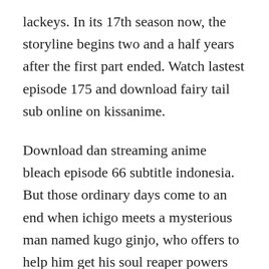lackeys. In its 17th season now, the storyline begins two and a half years after the first part ended. Watch lastest episode 175 and download fairy tail sub online on kissanime.
Download dan streaming anime bleach episode 66 subtitle indonesia. But those ordinary days come to an end when ichigo meets a mysterious man named kugo ginjo, who offers to help him get his soul reaper powers backand gives him only a day to decide. English subbed and dubbed anime streaming db dbz dbgt dbs episodes and